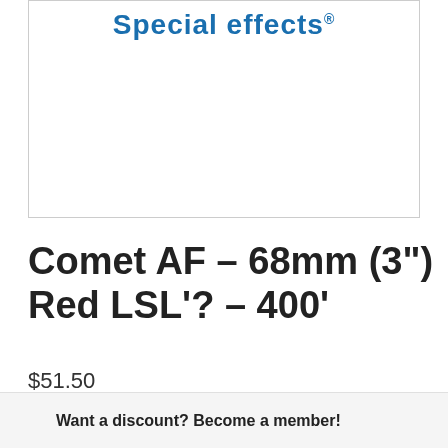[Figure (logo): Special Effects brand logo with blue text and registered trademark symbol inside a white bordered box]
Comet AF – 68mm (3") Red LSL'? – 400'
$51.50
- 1 + Add to cart
Want a discount? Become a member!